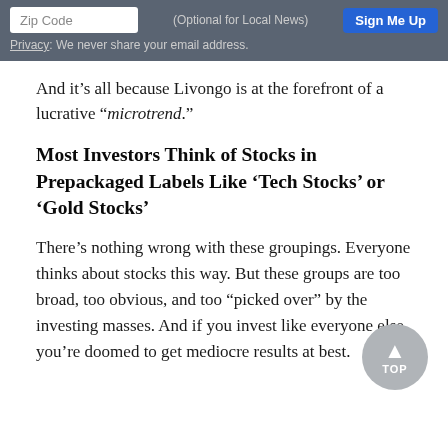[Figure (screenshot): Email signup bar with Zip Code input, Optional for Local News label, and Sign Me Up button, on a grey background. Below: Privacy: We never share your email address.]
And it’s all because Livongo is at the forefront of a lucrative “microtrend.”
Most Investors Think of Stocks in Prepackaged Labels Like ‘Tech Stocks’ or ‘Gold Stocks’
There’s nothing wrong with these groupings. Everyone thinks about stocks this way. But these groups are too broad, too obvious, and too “picked over” by the investing masses. And if you invest like everyone else, you’re doomed to get mediocre results at best.